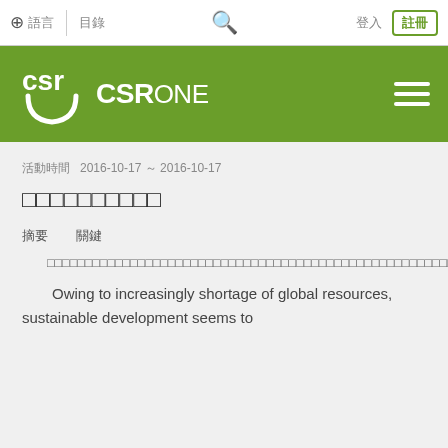CSRone navigation bar with globe icon, menu items, search, login options
[Figure (logo): CSRone logo on green background with hamburger menu]
?????? 2016-10-17 ～ 2016-10-17
??????????
??  ??
Chinese abstract text block (placeholder characters)
Owing to increasingly shortage of global resources, sustainable development seems to